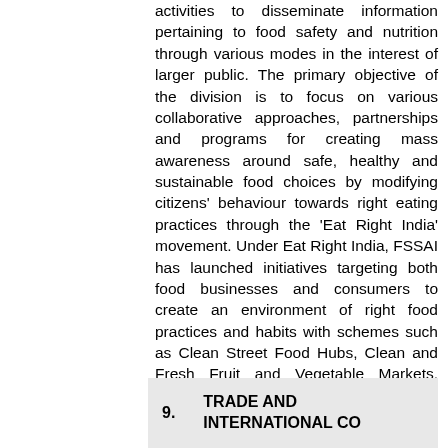activities to disseminate information pertaining to food safety and nutrition through various modes in the interest of larger public. The primary objective of the division is to focus on various collaborative approaches, partnerships and programs for creating mass awareness around safe, healthy and sustainable food choices by modifying citizens' behaviour towards right eating practices through the 'Eat Right India' movement. Under Eat Right India, FSSAI has launched initiatives targeting both food businesses and consumers to create an environment of right food practices and habits with schemes such as Clean Street Food Hubs, Clean and Fresh Fruit and Vegetable Markets, BHOG (Blissful Hygienic Offering to God) for Places of Worship, Eat Right Campus, Eat Right schools and Eat Right Stations.
9.    TRADE AND INTERNATIONAL CO